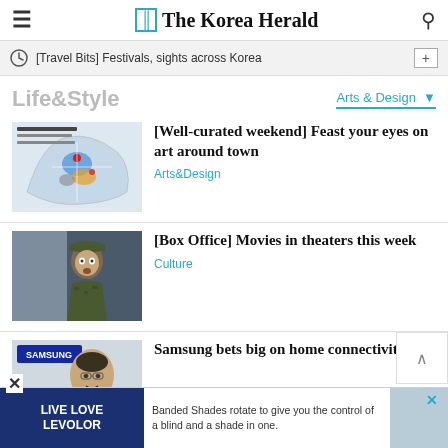The Korea Herald
[Travel Bits] Festivals, sights across Korea
Life&Style
Arts & Design
[Figure (map): Map of Seoul arts districts]
[Well-curated weekend] Feast your eyes on art around town
Arts&Design
[Figure (photo): Person in military uniform looking surprised]
[Box Office] Movies in theaters this week
Culture
[Figure (photo): Samsung executive at press event, Samsung logo visible]
Samsung bets big on home connectivity
[Figure (photo): Levolor advertisement - LIVE LOVE LEVOLOR, Banded Shades rotate to give you the control of a blind and a shade in one.]